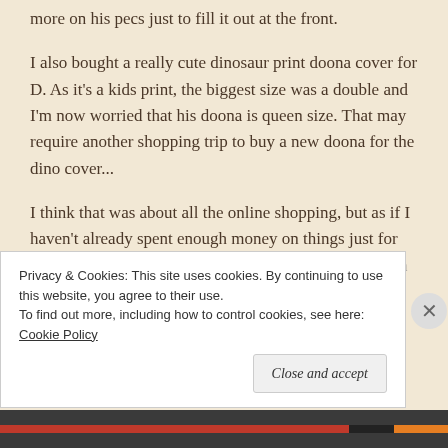more on his pecs just to fill it out at the front.
I also bought a really cute dinosaur print doona cover for D. As it's a kids print, the biggest size was a double and I'm now worried that his doona is queen size. That may require another shopping trip to buy a new doona for the dino cover...
I think that was about all the online shopping, but as if I haven't already spent enough money on things just for the sake of it, I'm still toying with the idea of buying an on-sale Charlie Brown dress as she is my
Privacy & Cookies: This site uses cookies. By continuing to use this website, you agree to their use.
To find out more, including how to control cookies, see here: Cookie Policy
Close and accept